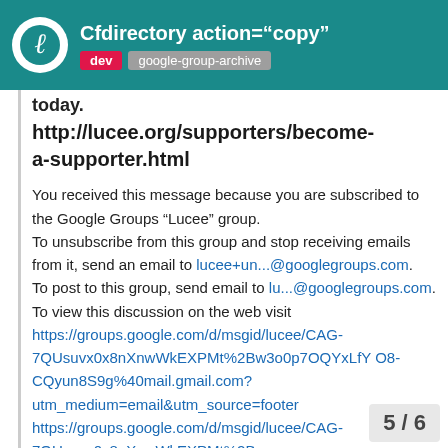Cfdirectory action="copy" | dev | google-group-archive
today. http://lucee.org/supporters/become-a-supporter.html
You received this message because you are subscribed to the Google Groups “Lucee” group.
To unsubscribe from this group and stop receiving emails from it, send an email to lucee+un...@googlegroups.com.
To post to this group, send email to lu...@googlegroups.com.
To view this discussion on the web visit https://groups.google.com/d/msgid/lucee/CAG-7QUsuvx0x8nXnwWkEXPMt%2Bw3o0p7OQYxLfYO8-CQyun8S9g%40mail.gmail.com?utm_medium=email&utm_source=footer
https://groups.google.com/d/msgid/lucee/CAG-7QUsuvx0x8nXnwWkEXPMt%2Bw... O8-CQyun8S9g%40mail.gmail.co
5 / 6